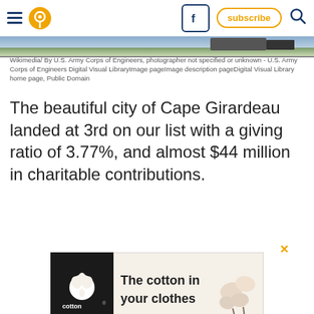Navigation bar with hamburger menu, location pin icon, Facebook icon, subscribe button, search icon
[Figure (photo): Partial landscape/outdoor image strip at top of article]
Wikimedia/ By U.S. Army Corps of Engineers, photographer not specified or unknown - U.S. Army Corps of Engineers Digital Visual LibraryImage pageImage description pageDigital Visual Library home page, Public Domain
The beautiful city of Cape Girardeau landed at 3rd on our list with a giving ratio of 3.77%, and almost $44 million in charitable contributions.
[Figure (illustration): Cotton Inc. advertisement banner: 'The cotton in your clothes' with cotton bolls image and Cotton logo]